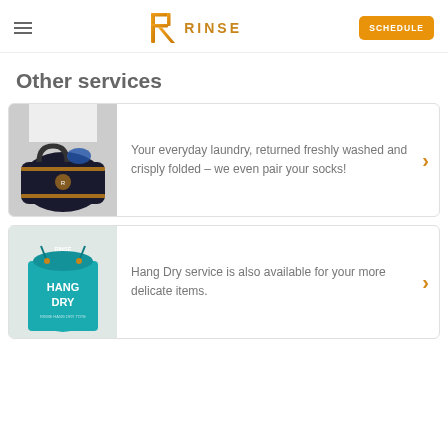RINSE — SCHEDULE
Other services
[Figure (photo): Person holding a black Rinse branded laundry duffel bag with gold stripes]
Your everyday laundry, returned freshly washed and crisply folded – we even pair your socks!
[Figure (photo): Teal/turquoise Rinse branded HANG DRY laundry bag]
Hang Dry service is also available for your more delicate items.